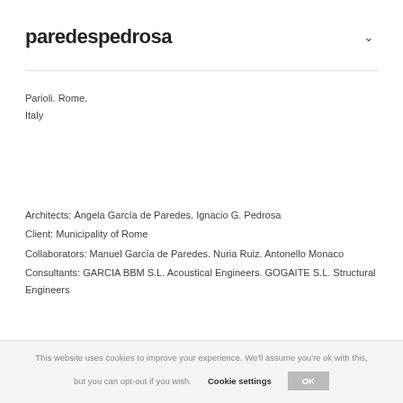paredespedrosa
Parioli. Rome.
Italy
Architects: Ángela García de Paredes. Ignacio G. Pedrosa
Client: Municipality of Rome
Collaborators: Manuel García de Paredes. Nuria Ruiz. Antonello Monaco
Consultants: GARCIA BBM S.L. Acoustical Engineers. GOGAITE S.L. Structural Engineers
This website uses cookies to improve your experience. We'll assume you're ok with this, but you can opt-out if you wish. Cookie settings OK